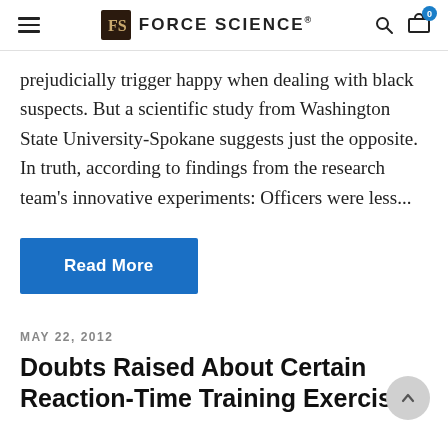FORCE SCIENCE
prejudicially trigger happy when dealing with black suspects. But a scientific study from Washington State University-Spokane suggests just the opposite. In truth, according to findings from the research team's innovative experiments: Officers were less...
Read More
MAY 22, 2012
Doubts Raised About Certain Reaction-Time Training Exercises